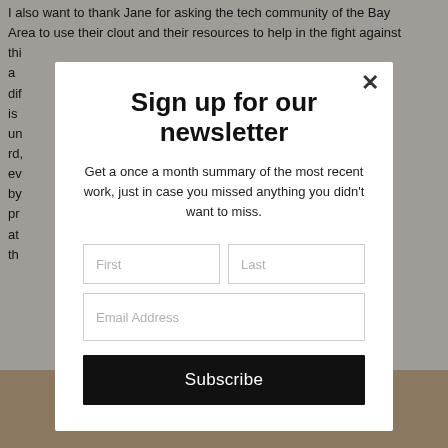I also want to thank Jane for asking the tech community of the Bay Area to use their clout and their resources to help in the fight against thi... a dif... is un... rd, ev... by pr... at the...
Sign up for our newsletter
Get a once a month summary of the most recent work, just in case you missed anything you didn't want to miss.
First
Last
Email Address
Subscribe